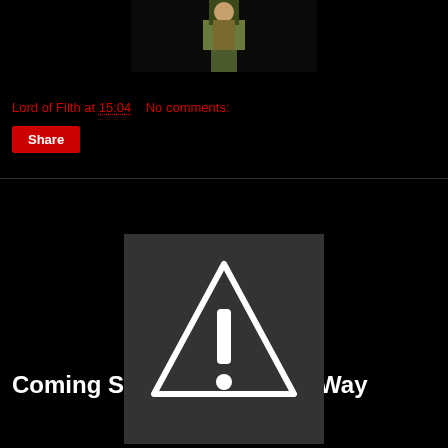[Figure (screenshot): Partial video thumbnail showing a person outdoors with greenery]
Lord of Filth at 15:04    No comments:
Share
Coming Soon - 5150 Elm's Way
[Figure (screenshot): Dark gray placeholder image with a white warning triangle and exclamation mark icon]